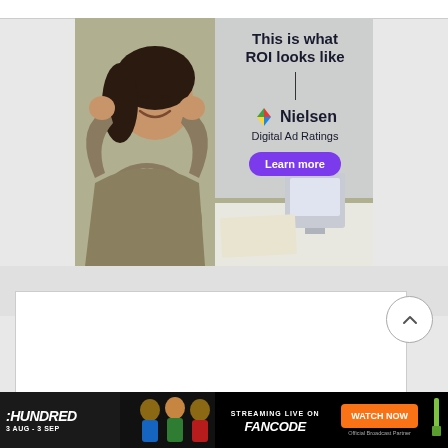[Figure (illustration): Nielsen Digital Ad Ratings advertisement banner. Left half shows a woman with dark hair laughing/celebrating with raised fists, wearing a grey blazer. Right half contains text 'This is what ROI looks like' followed by a vertical divider line, Nielsen logo with colorful icon, 'Digital Ad Ratings' subtitle, and a purple rounded button reading 'Learn more'.]
[Figure (screenshot): White content block below the ad, with a circular scroll-to-top button with chevron/up arrow on the right side.]
[Figure (illustration): Bottom banner advertisement for 'The Hundred' cricket streaming. Black background. Left section shows 'HUNDRED' in bold italic white text with dates '3 AUG - 3 SEP'. Middle section shows cricket players and text 'STREAMING LIVE ON FANCODE'. Right section has orange button 'WATCH NOW' with 'Official Broadcast Partner' text below and a cricket bat icon.]